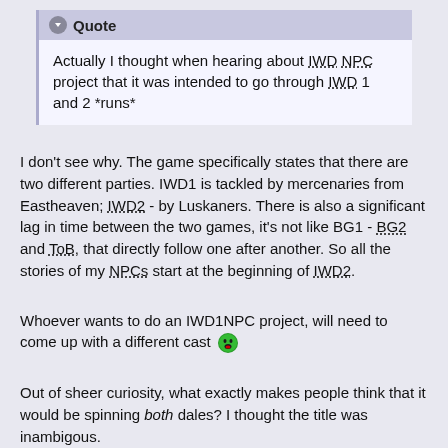Quote
Actually I thought when hearing about IWD NPC project that it was intended to go through IWD 1 and 2 *runs*
I don't see why. The game specifically states that there are two different parties. IWD1 is tackled by mercenaries from Eastheaven; IWD2 - by Luskaners. There is also a significant lag in time between the two games, it's not like BG1 - BG2 and ToB, that directly follow one after another. So all the stories of my NPCs start at the beginning of IWD2.
Whoever wants to do an IWD1NPC project, will need to come up with a different cast 😮
Out of sheer curiosity, what exactly makes people think that it would be spinning both dales? I thought the title was inambigous.